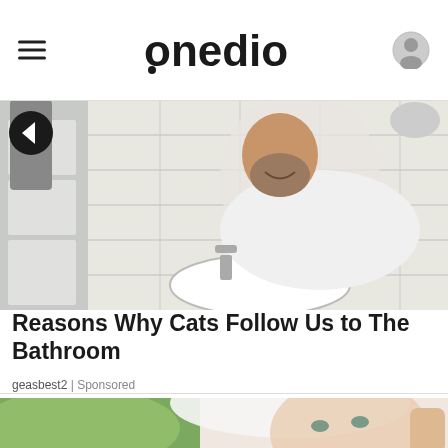onedio
[Figure (photo): Man in white t-shirt leaning over a bathroom sink, smiling, with white subway tile walls, a cat visible in background, and bathroom fixtures]
Reasons Why Cats Follow Us to The Bathroom
geasbest2 | Sponsored
[Figure (photo): Close-up of a smiling older woman with white/silver hair blowing in the wind, hand near her face, against a blurred green background]